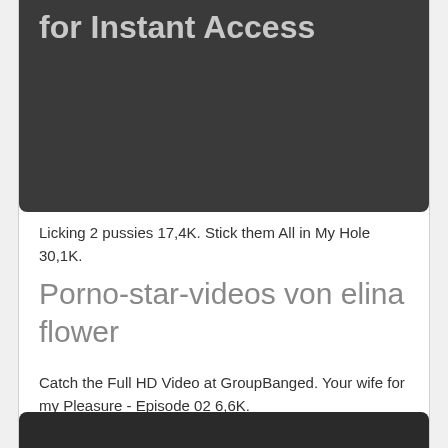[Figure (other): Dark banner image with bold light-colored text showing 'for Instant Access' on dark background]
Licking 2 pussies 17,4K. Stick them All in My Hole 30,1K.
Porno-star-videos von elina flower
Catch the Full HD Video at GroupBanged. Your wife for my Pleasure - Episode 02 6,6K.
[Figure (other): Dark banner at the bottom of the page, partially visible]